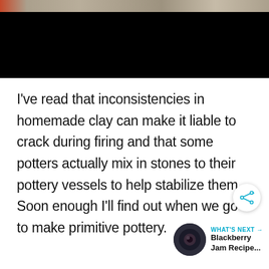[Figure (photo): Top portion of a webpage showing a dark image with an orange and textured strip at the top, mostly black background]
I've read that inconsistencies in homemade clay can make it liable to crack during firing and that some potters actually mix in stones to their pottery vessels to help stabilize them. Soon enough I'll find out when we go to make primitive pottery.
WHAT'S NEXT → Blackberry Jam Recipe...